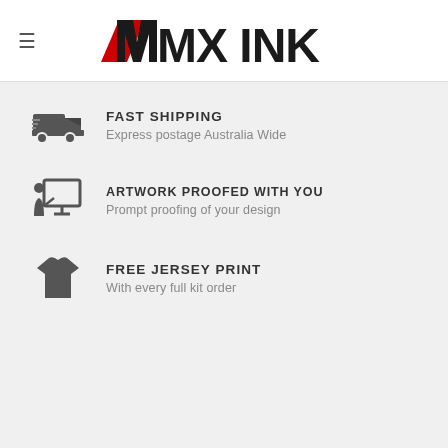MX INK logo
FAST SHIPPING
Express postage Australia Wide
ARTWORK PROOFED WITH YOU
Prompt proofing of your design
FREE JERSEY PRINT
With every full kit order